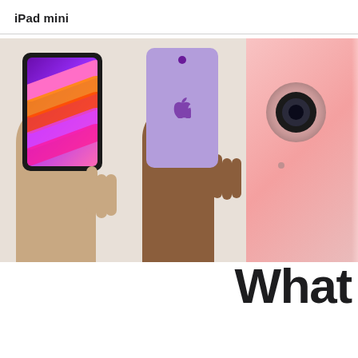iPad mini
[Figure (photo): Three iPad mini product images: left shows front face with purple/pink colorful wallpaper held in hand, center shows back of purple iPad mini held in hand with Apple logo visible, right shows close-up corner of pink iPad mini with camera module]
What